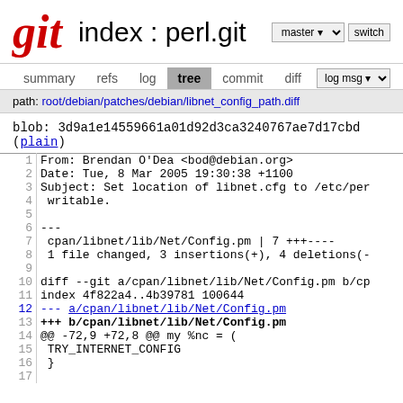Git index : perl.git
summary  refs  log  tree  commit  diff
path: root/debian/patches/debian/libnet_config_path.diff
blob: 3d9a1e14559661a01d92d3ca3240767ae7d17cbd (plain)
| line | code |
| --- | --- |
| 1 | From: Brendan O'Dea <bod@debian.org> |
| 2 | Date: Tue, 8 Mar 2005 19:30:38 +1100 |
| 3 | Subject: Set location of libnet.cfg to /etc/per |
| 4 |  writable. |
| 5 |  |
| 6 | --- |
| 7 |  cpan/libnet/lib/Net/Config.pm | 7 +++---- |
| 8 |  1 file changed, 3 insertions(+), 4 deletions(- |
| 9 |  |
| 10 | diff --git a/cpan/libnet/lib/Net/Config.pm b/cp |
| 11 | index 4f822a4..4b39781 100644 |
| 12 | --- a/cpan/libnet/lib/Net/Config.pm |
| 13 | +++ b/cpan/libnet/lib/Net/Config.pm |
| 14 | @@ -72,9 +72,8 @@ my %nc = ( |
| 15 |  TRY_INTERNET_CONFIG |
| 16 |  } |
| 17 |  |